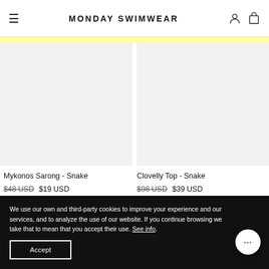MONDAY SWIMWEAR
[Figure (other): Two product images side by side — Mykonos Sarong Snake (left) and Clovelly Top Snake (right), shown as light grey placeholder areas]
Mykonos Sarong - Snake
$48 USD  $19 USD
Clovelly Top - Snake
$98 USD  $39 USD
We use our own and third-party cookies to improve your experience and our services, and to analyze the use of our website. If you continue browsing we take that to mean that you accept their use. See info.
Accept